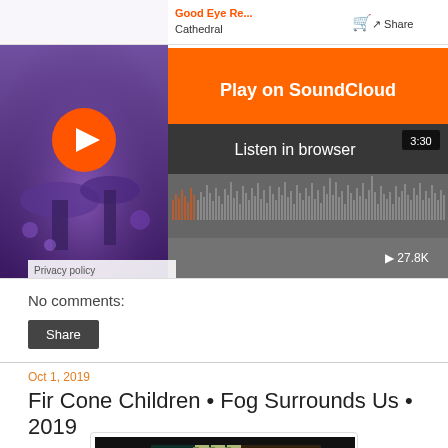[Figure (screenshot): SoundCloud embedded player showing 'Good Eye Re...' / Cathedral track with orange Play on SoundCloud button and Listen in browser bar, waveform, 3:30 duration, 27.8K plays, Privacy policy label]
No comments:
Share
Oct 1, 2019
Fir Cone Children • Fog Surrounds Us • 2019
[Figure (photo): Album artwork for Fir Cone Children Fog Surrounds Us 2019 - colorful geometric 3D letter shapes on black background with orange, teal, yellow, red, pink colors]